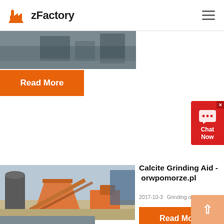zFactory
[Figure (photo): Industrial machinery/factory equipment photo strip at top]
Read More
[Figure (other): Chat Now widget with speech bubble icon]
[Figure (photo): Industrial crushing/mining equipment outdoor site photo]
Calcite Grinding Aid - orwpomorze.pl
2017-10-3    Grinding of calcite a...
Read More